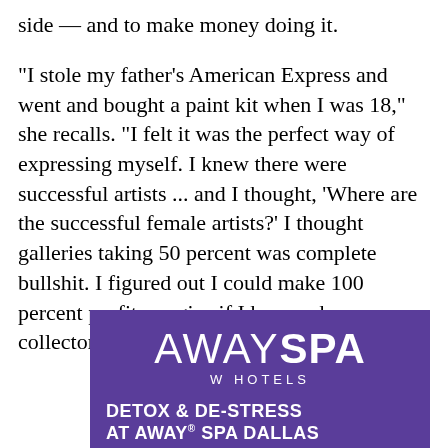side — and to make money doing it.
“I stole my father’s American Express and went and bought a paint kit when I was 18,” she recalls. “I felt it was the perfect way of expressing myself. I knew there were successful artists ... and I thought, ‘Where are the successful female artists?’ I thought galleries taking 50 percent was complete bullshit. I figured out I could make 100 percent profit margins if I knew who my collectors were.”
[Figure (logo): AWAY SPA W Hotels advertisement with purple background. Text reads: AWAYSPA W HOTELS. DETOX & DE-STRESS AT AWAY® SPA DALLAS. LOCATED AT W DALLAS-VICTORY HOTEL & RESIDENCES]